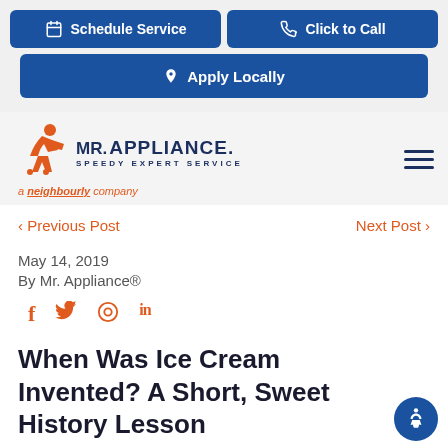Schedule Service | Click to Call | Apply Locally
[Figure (logo): Mr. Appliance logo with running figure mascot, text 'MR. APPLIANCE. SPEEDY EXPERT SERVICE', and 'a neighbourly company' tagline]
< Previous Post    Next Post >
May 14, 2019
By Mr. Appliance®
f  twitter  pinterest  in
When Was Ice Cream Invented? A Short, Sweet History Lesson